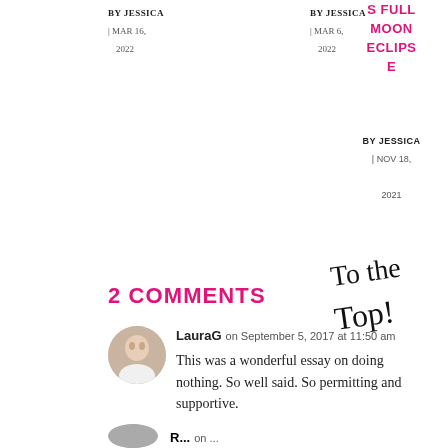BY JESSICA | MAR 16, 2022
BY JESSICA | MAR 6, 2022
2021
S FULL MOON ECLIPSE
BY JESSICA | NOV 18, 2021
[Figure (illustration): Handwritten cursive text reading 'To the Top!']
2 COMMENTS
LauraG on September 5, 2017 at 11:50 am
This was a wonderful essay on doing nothing. So well said. So permitting and supportive.
[Figure (photo): Small circular avatar photo of a woman with blonde hair]
R... on ...